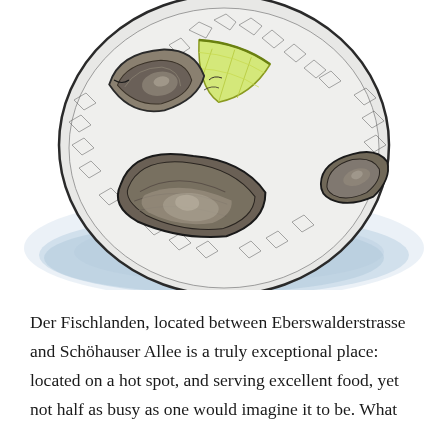[Figure (illustration): Watercolor and ink illustration of a plate of oysters on ice with a lemon wedge, viewed from above. The plate has three open oysters and a lemon slice arranged on crushed ice, with a soft blue watercolor shadow beneath.]
Der Fischlanden, located between Eberswalderstrasse and Schöhauser Allee is a truly exceptional place: located on a hot spot, and serving excellent food, yet not half as busy as one would imagine it to be. What